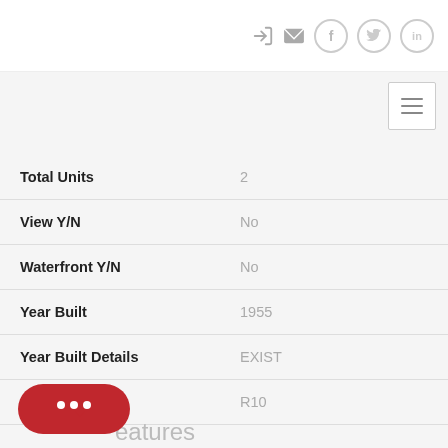[Figure (screenshot): Top navigation bar with login, mail, Facebook, Twitter, LinkedIn icons and hamburger menu button]
| Field | Value |
| --- | --- |
| Total Units | 2 |
| View Y/N | No |
| Waterfront Y/N | No |
| Year Built | 1955 |
| Year Built Details | EXIST |
| Zoning | R10 |
eatures
[Figure (illustration): Red chat bubble button with three white dots (chat widget)]